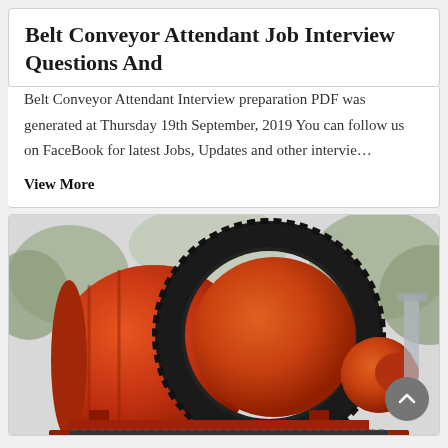Belt Conveyor Attendant Job Interview Questions And
Belt Conveyor Attendant Interview preparation PDF was generated at Thursday 19th September, 2019 You can follow us on FaceBook for latest Jobs, Updates and other intervie…
View More
[Figure (photo): Large orange industrial ball mill or drum-type conveyor machinery with a large gear/sprocket ring around the drum, photographed outdoors against a light background with trees.]